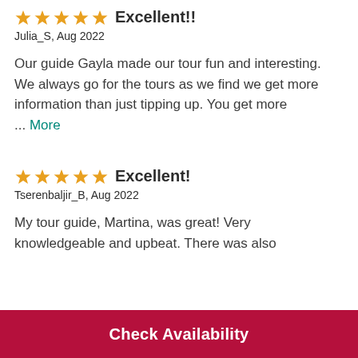★★★★★ Excellent!! Julia_S, Aug 2022 Our guide Gayla made our tour fun and interesting. We always go for the tours as we find we get more information than just tipping up. You get more … More
★★★★★ Excellent! Tserenbaljir_B, Aug 2022 My tour guide, Martina, was great! Very knowledgeable and upbeat. There was also
Check Availability